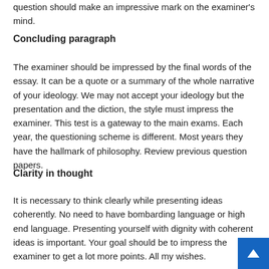question should make an impressive mark on the examiner's mind.
Concluding paragraph
The examiner should be impressed by the final words of the essay. It can be a quote or a summary of the whole narrative of your ideology. We may not accept your ideology but the presentation and the diction, the style must impress the examiner. This test is a gateway to the main exams. Each year, the questioning scheme is different. Most years they have the hallmark of philosophy. Review previous question papers.
Clarity in thought
It is necessary to think clearly while presenting ideas coherently. No need to have bombarding language or high end language. Presenting yourself with dignity with coherent ideas is important. Your goal should be to impress the examiner to get a lot more points. All my wishes.